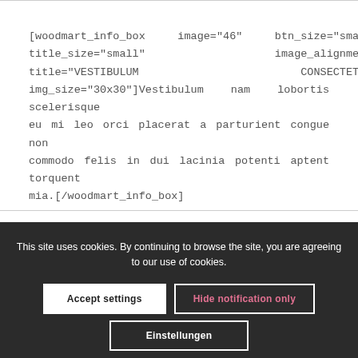[woodmart_info_box image="46" btn_size="small" title_size="small" image_alignment="left" title="VESTIBULUM CONSECTETUR." img_size="30x30"]Vestibulum nam lobortis scelerisque eu mi leo orci placerat a parturient congue non commodo felis in dui lacinia potenti aptent torquent mia.[/woodmart_info_box]
This site uses cookies. By continuing to browse the site, you are agreeing to our use of cookies.
Accept settings
Hide notification only
Einstellungen